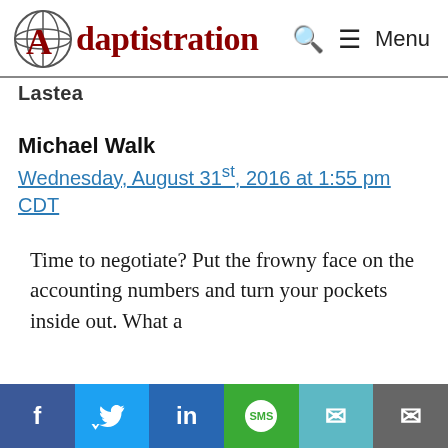Adaptistration — Menu
Lastea
Michael Walk
Wednesday, August 31st, 2016 at 1:55 pm CDT
Time to negotiate? Put the frowny face on the accounting numbers and turn your pockets inside out. What a
[Figure (other): Social share bar with Facebook, Twitter, LinkedIn, SMS, email, and mail icons]